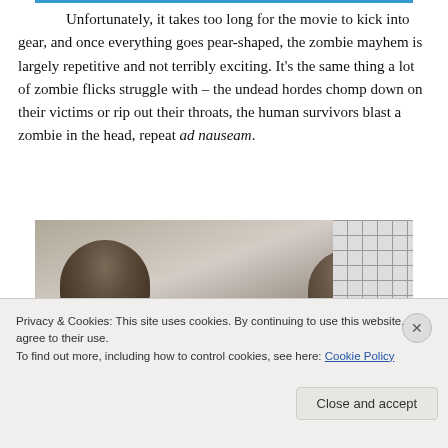Unfortunately, it takes too long for the movie to kick into gear, and once everything goes pear-shaped, the zombie mayhem is largely repetitive and not terribly exciting. It's the same thing a lot of zombie flicks struggle with – the undead hordes chomp down on their victims or rip out their throats, the human survivors blast a zombie in the head, repeat ad nauseam.
[Figure (photo): Two people with brown hair shown from behind or side, standing near a tiled/grid wall. Photo is partially obscured by a cookie consent banner.]
Privacy & Cookies: This site uses cookies. By continuing to use this website, you agree to their use.
To find out more, including how to control cookies, see here: Cookie Policy